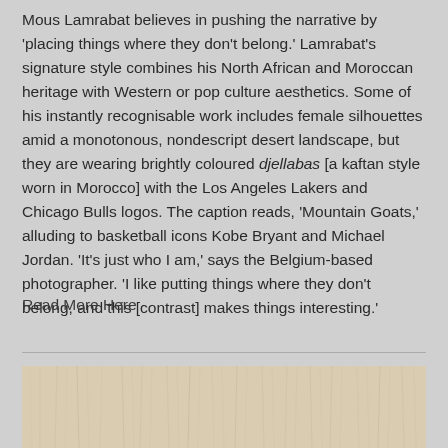Mous Lamrabat believes in pushing the narrative by 'placing things where they don't belong.' Lamrabat's signature style combines his North African and Moroccan heritage with Western or pop culture aesthetics. Some of his instantly recognisable work includes female silhouettes amid a monotonous, nondescript desert landscape, but they are wearing brightly coloured djellabas [a kaftan style worn in Morocco] with the Los Angeles Lakers and Chicago Bulls logos. The caption reads, 'Mountain Goats,' alluding to basketball icons Kobe Bryant and Michael Jordan. 'It's just who I am,' says the Belgium-based photographer. 'I like putting things where they don't belong, and this [contrast] makes things interesting.'
Read More Here
[Figure (photo): Partial view of a light wood grain texture or wooden surface, showing vertical wood grain lines in a pale beige/tan color.]